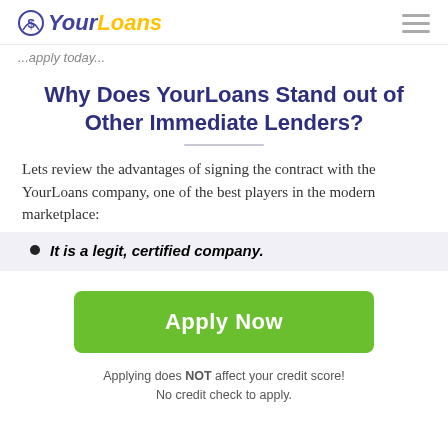YourLoans
...apply today...
Why Does YourLoans Stand out of Other Immediate Lenders?
Lets review the advantages of signing the contract with the YourLoans company, one of the best players in the modern marketplace:
It is a legit, certified company.
Apply Now
Applying does NOT affect your credit score! No credit check to apply.